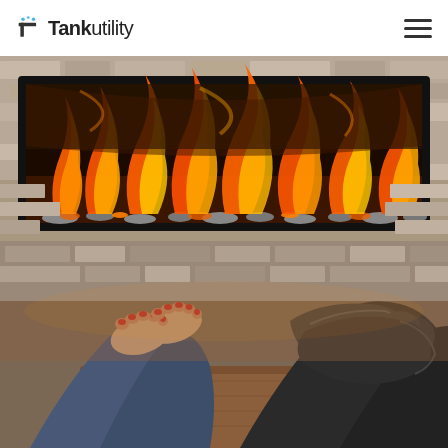Tank Utility
[Figure (photo): A couple relaxing with feet up toward a modern linear gas fireplace set into a stacked stone wall. One person has bare feet with red nail polish, the other wears dark socks. The fireplace shows bright orange and yellow flames.]